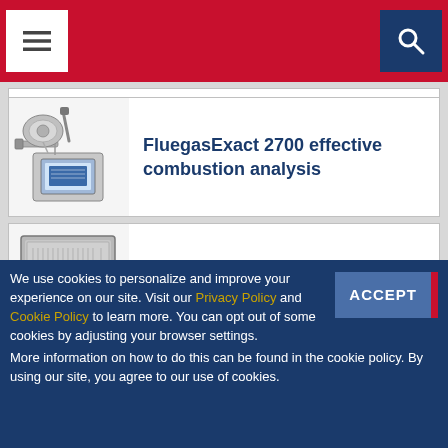Navigation bar with menu and search buttons
[Figure (photo): FluegasExact 2700 combustion analysis device - industrial sensor equipment]
FluegasExact 2700 effective combustion analysis
[Figure (photo): ViscoSure in-line viscosity measurement device - large industrial cabinet unit]
ViscoSure: In-line Viscosity
We use cookies to personalize and improve your experience on our site. Visit our Privacy Policy and Cookie Policy to learn more. You can opt out of some cookies by adjusting your browser settings.
More information on how to do this can be found in the cookie policy. By using our site, you agree to our use of cookies.